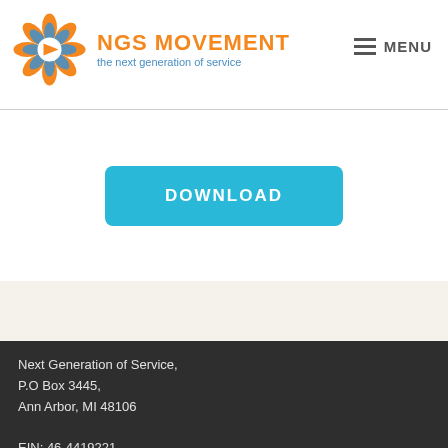NGS MOVEMENT – the next generation of service | MENU
DOWNLOAD
Next Generation of Service,
P.O Box 3445,
Ann Arbor, MI 48106
EIN: 46-4419221
LATEST TWEETS